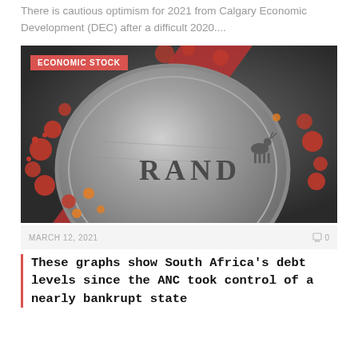There is cautious optimism for 2021 from Calgary Economic Development (DEC) after a difficult 2020....
[Figure (photo): Close-up photo of a South African Rand coin covered with red and orange virus-like protrusions (COVID-19 imagery), with the word RAND and a springbok antelope embossed on the coin face. A red diagonal streak crosses the image. Category badge reads ECONOMIC STOCK.]
MARCH 12, 2021   0
These graphs show South Africa's debt levels since the ANC took control of a nearly bankrupt state